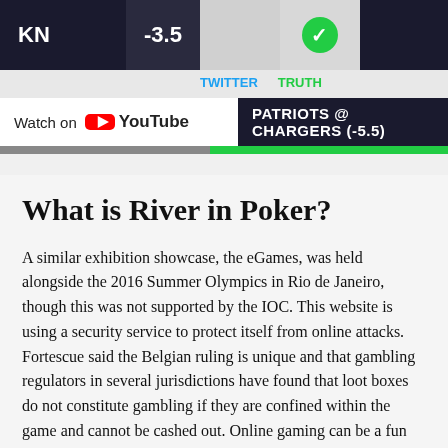[Figure (screenshot): Top banner UI showing sports scores, Twitter and Truth social icons, YouTube watch button, and Patriots @ Chargers (-5.5) sports betting bar]
What is River in Poker?
A similar exhibition showcase, the eGames, was held alongside the 2016 Summer Olympics in Rio de Janeiro, though this was not supported by the IOC. This website is using a security service to protect itself from online attacks. Fortescue said the Belgian ruling is unique and that gambling regulators in several jurisdictions have found that loot boxes do not constitute gambling if they are confined within the game and cannot be cashed out. Online gaming can be a fun source of entertainment – providing you with the chance to socialize with your friends, build your problem solving skills and work your